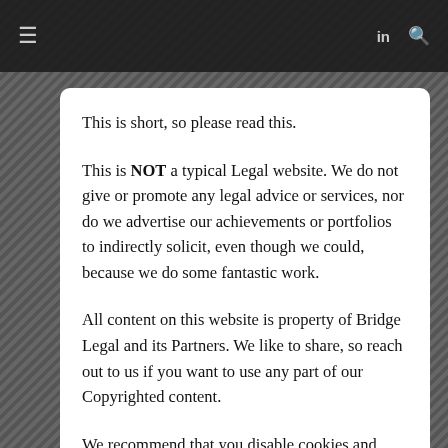This is short, so please read this.
This is NOT a typical Legal website. We do not give or promote any legal advice or services, nor do we advertise our achievements or portfolios to indirectly solicit, even though we could, because we do some fantastic work.
All content on this website is property of Bridge Legal and its Partners. We like to share, so reach out to us if you want to use any part of our Copyrighted content.
We recommend that you disable cookies and your location should you choose to not have your